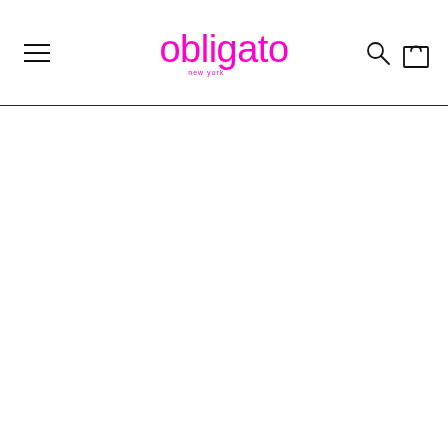[Figure (logo): Obligato New York brand logo in magenta/pink with hamburger menu icon on left and search/cart icons on right, followed by a horizontal divider line]